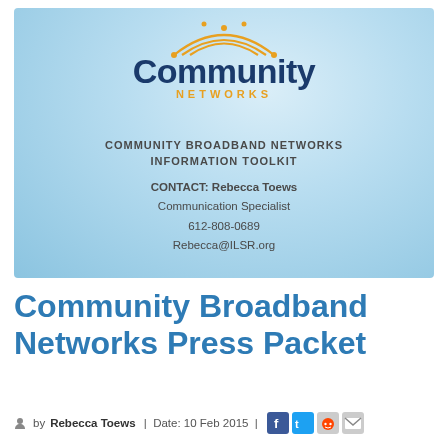[Figure (logo): Community Networks logo with orange arc and blue text, on light blue gradient background. Below: COMMUNITY BROADBAND NETWORKS INFORMATION TOOLKIT. CONTACT: Rebecca Toews, Communication Specialist, 612-808-0689, Rebecca@ILSR.org]
Community Broadband Networks Press Packet
by Rebecca Toews | Date: 10 Feb 2015 |